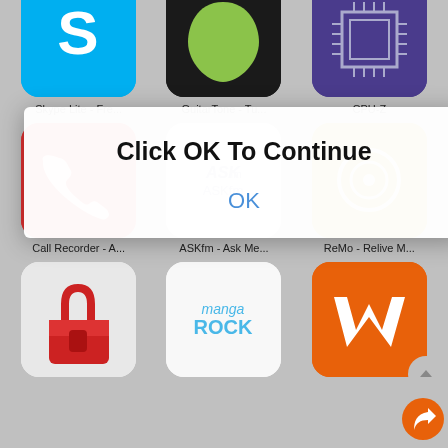[Figure (screenshot): Mobile app store or home screen screenshot showing a grid of app icons (Skype Lite, GuitarTune, CPU-Z, Call Recorder, ASKfm, ReMo - Relive M, a red lock app, Manga Rock, Wattpad) with a modal dialog overlay displaying 'Click OK To Continue' with an OK button in blue text.]